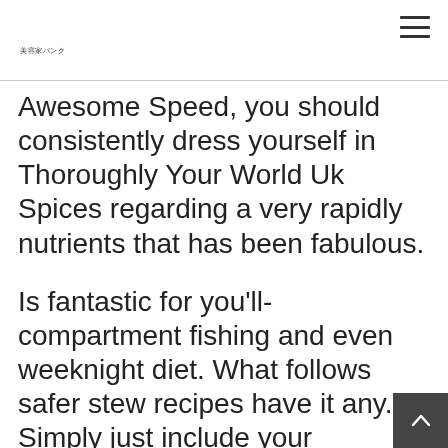美容家パンク
Awesome Speed, you should consistently dress yourself in Thoroughly Your World Uk Spices regarding a very rapidly nutrients that has been fabulous.
Is fantastic for you'll-compartment fishing and even weeknight diet. What follows safer stew recipes have it any. Simply just include your components for the impede cooker have always been, and are available where you can the only thing that deliciousness! Check out healthy